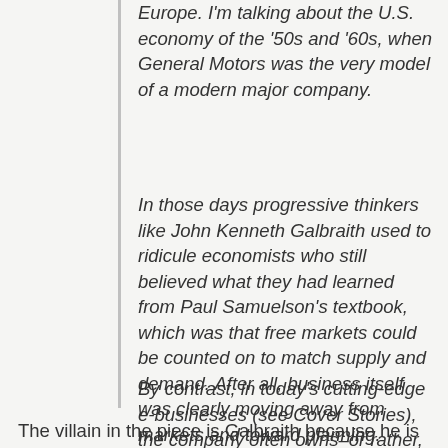Europe. I'm talking about the U.S. economy of the '50s and '60s, when General Motors was the very model of a modern major company.
In those days progressive thinkers like John Kenneth Galbraith used to ridicule economists who still believed what they had learned from Paul Samuelson's textbook, which was that free markets could be counted on to match supply and demand. After all, business itself was clearly moving away from markets and toward planning.
By contrast, in today's cutting-edge e-businesses (see Cover Stories), the company often owns–or rather, rents–little but brainpower.
The villain in the piece is Galbraith because he is a